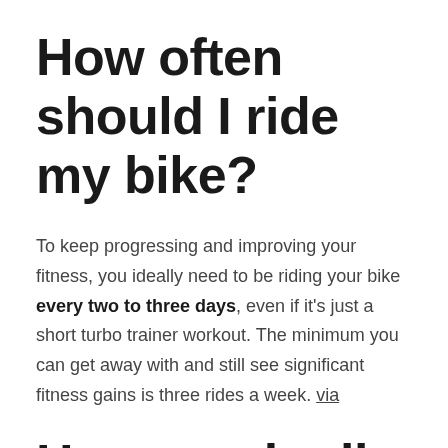How often should I ride my bike?
To keep progressing and improving your fitness, you ideally need to be riding your bike every two to three days, even if it's just a short turbo trainer workout. The minimum you can get away with and still see significant fitness gains is three rides a week. via
How much oil